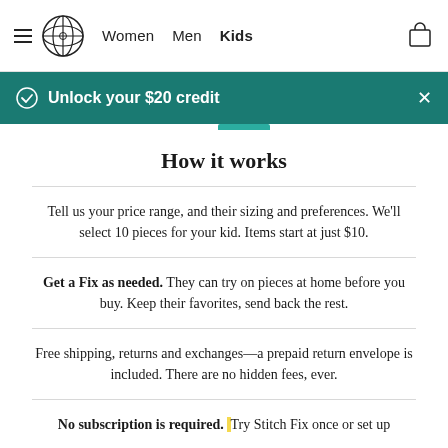Women | Men | Kids
Unlock your $20 credit
How it works
Tell us your price range, and their sizing and preferences. We'll select 10 pieces for your kid. Items start at just $10.
Get a Fix as needed. They can try on pieces at home before you buy. Keep their favorites, send back the rest.
Free shipping, returns and exchanges—a prepaid return envelope is included. There are no hidden fees, ever.
No subscription is required. Try Stitch Fix once or set up